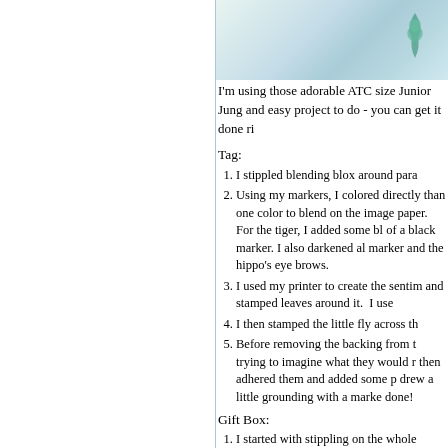[Figure (photo): Partial photo of a crafting project with teal/green colors visible at top]
I'm using those adorable ATC size Junior Jung and easy project to do - you can get it done ri
Tag:
1. I stippled blending blox around para
2. Using my markers, I colored directly than one color to blend on the image paper. For the tiger, I added some bl of a black marker. I also darkened al marker and the hippo's eye brows.
3. I used my printer to create the sentin and stamped leaves around it. I use
4. I then stamped the little fly across th
5. Before removing the backing from t trying to imagine what they would r then adhered them and added some p drew a little grounding with a marke done!
Gift Box:
1. I started with stippling on the whole
2. I then stamped images at random. A directly on your images using more